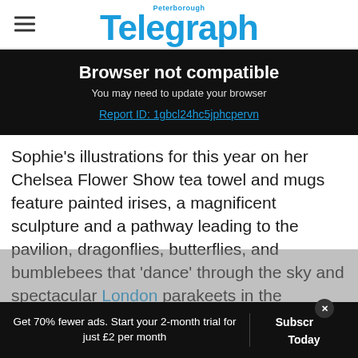Peterborough Telegraph
Browser not compatible
You may need to update your browser
Report ID: 1gbcl24hc5jphcpervn
Sophie's illustrations for this year on her Chelsea Flower Show tea towel and mugs feature painted irises, a magnificent sculpture and a pathway leading to the pavilion, dragonflies, butterflies, and bumblebees that 'dance' through the sky and spectacular London parakeets in the treetops while Chris
Get 70% fewer ads. Start your 2-month trial for just £2 per month
Subscribe Today